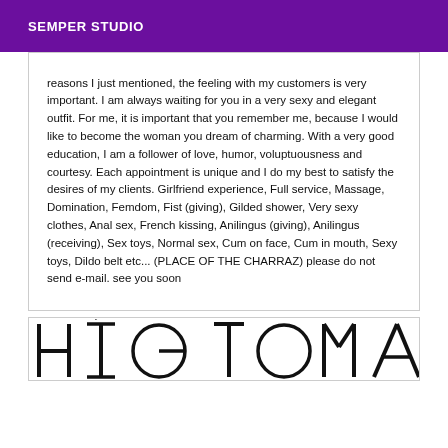SEMPER STUDIO
reasons I just mentioned, the feeling with my customers is very important. I am always waiting for you in a very sexy and elegant outfit. For me, it is important that you remember me, because I would like to become the woman you dream of charming. With a very good education, I am a follower of love, humor, voluptuousness and courtesy. Each appointment is unique and I do my best to satisfy the desires of my clients. Girlfriend experience, Full service, Massage, Domination, Femdom, Fist (giving), Gilded shower, Very sexy clothes, Anal sex, French kissing, Anilingus (giving), Anilingus (receiving), Sex toys, Normal sex, Cum on face, Cum in mouth, Sexy toys, Dildo belt etc... (PLACE OF THE CHARRAZ) please do not send e-mail. see you soon
[Figure (logo): Large stylized logo text partially visible at the bottom of the page]